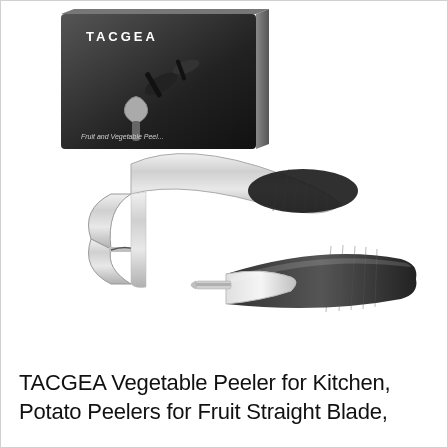[Figure (photo): Product photo showing two TACGEA vegetable/fruit peelers (a Y-peeler and a straight peeler with black non-slip handles and stainless steel blades) in front of their black product box labeled 'TACGEA Fruit and Vegetable Peeler'.]
TACGEA Vegetable Peeler for Kitchen, Potato Peelers for Fruit Straight Blade,